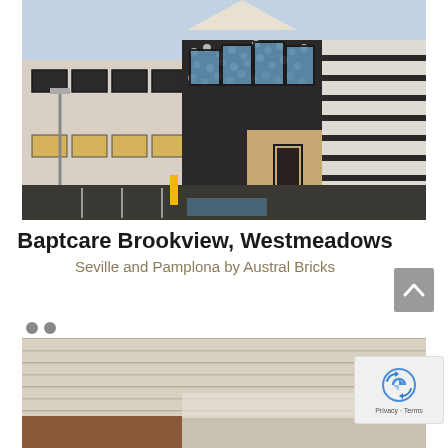[Figure (photo): Exterior photograph of Baptcare Brookview, Westmeadows building showing modern architecture with black and white brick patterning, large windows, and a parking area in the foreground]
Baptcare Brookview, Westmeadows
Seville and Pamplona by Austral Bricks
[Figure (photo): Partial interior photograph showing light-colored stone or tile wall and wooden architectural elements]